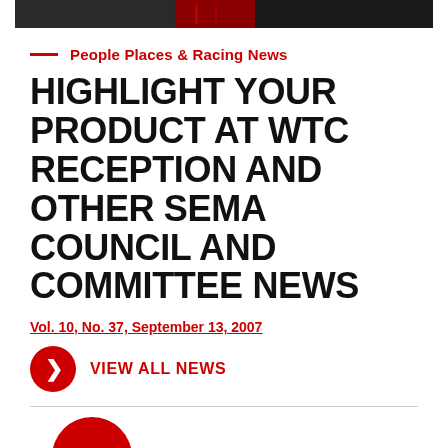[Figure (photo): Partial image of racing/automotive scene at top of page]
People Places & Racing News
HIGHLIGHT YOUR PRODUCT AT WTC RECEPTION AND OTHER SEMA COUNCIL AND COMMITTEE NEWS
Vol. 10, No. 37, September 13, 2007
VIEW ALL NEWS
[Figure (other): Red circle icon partially visible at bottom of page]